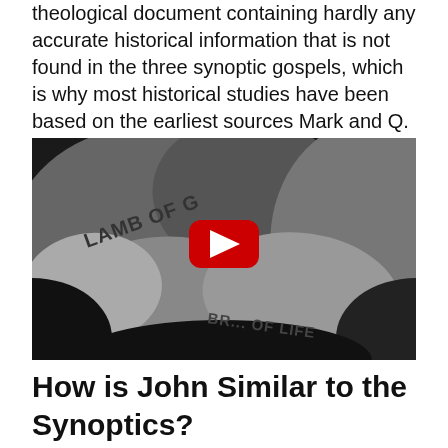theological document containing hardly any accurate historical information that is not found in the three synoptic gospels, which is why most historical studies have been based on the earliest sources Mark and Q.
[Figure (photo): Black and white photograph of stones/rocks with text engraved or printed on them reading 'LAMB OF GOD' and 'BREAD OF LIFE', with a YouTube play button overlay in the center.]
How is John Similar to the Synoptics?